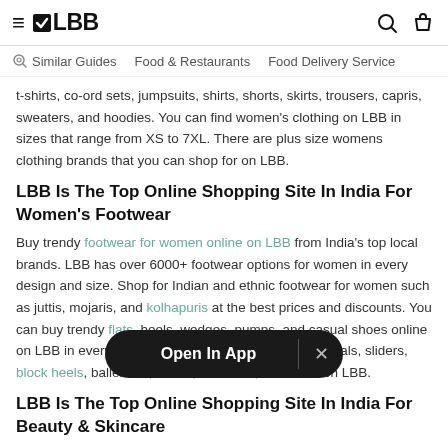≡  LBB   [search icon] [bag icon]
Similar Guides   Food & Restaurants   Food Delivery Service
t-shirts, co-ord sets, jumpsuits, shirts, shorts, skirts, trousers, capris, sweaters, and hoodies. You can find women's clothing on LBB in sizes that range from XS to 7XL. There are plus size womens clothing brands that you can shop for on LBB.
LBB Is The Top Online Shopping Site In India For Women's Footwear
Buy trendy footwear for women online on LBB from India's top local brands. LBB has over 6000+ footwear options for women in every design and size. Shop for Indian and ethnic footwear for women such as juttis, mojaris, and kolhapuris at the best prices and discounts. You can buy trendy flats, heels, wedges, pumps, and casual shoes online on LBB in every size and design. Shop online for sandals, sliders, block heels, ballerinas, mules, sneakers, and more on LBB.
LBB Is The Top Online Shopping Site In India For Beauty & Skincare
LBB has you covered with its curated collection of top skincare and beauty brands and products from India. You can shop online for vegan